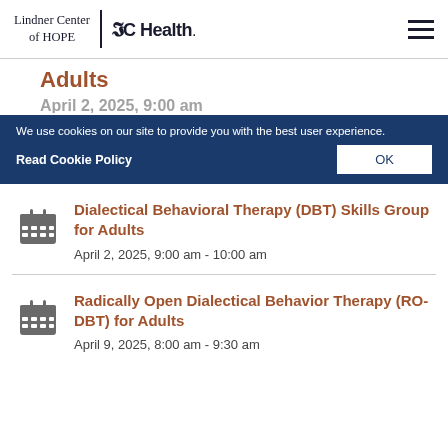Lindner Center of HOPE | UC Health
Adults
We use cookies on our site to provide you with the best user experience.
Read Cookie Policy   OK
Dialectical Behavioral Therapy (DBT) Skills Group for Adults
April 2, 2025, 9:00 am - 10:00 am
Radically Open Dialectical Behavior Therapy (RO-DBT) for Adults
April 9, 2025, 8:00 am - 9:30 am